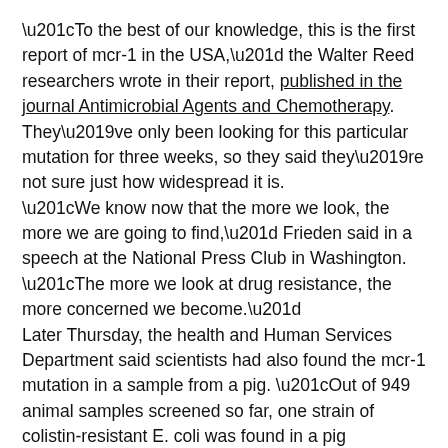“To the best of our knowledge, this is the first report of mcr-1 in the USA,” the Walter Reed researchers wrote in their report, published in the journal Antimicrobial Agents and Chemotherapy.
They’ve only been looking for this particular mutation for three weeks, so they said they’re not sure just how widespread it is.
“We know now that the more we look, the more we are going to find,” Frieden said in a speech at the National Press Club in Washington. “The more we look at drug resistance, the more concerned we become.”
Later Thursday, the health and Human Services Department said scientists had also found the mcr-1 mutation in a sample from a pig. “Out of 949 animal samples screened so far, one strain of colistin-resistant E. coli was found in a pig